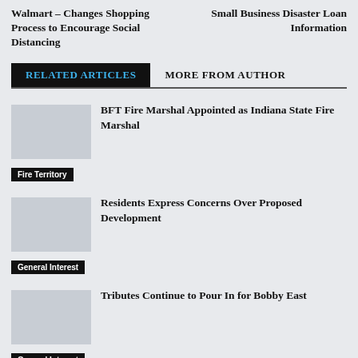Walmart – Changes Shopping Process to Encourage Social Distancing
Small Business Disaster Loan Information
RELATED ARTICLES    MORE FROM AUTHOR
BFT Fire Marshal Appointed as Indiana State Fire Marshal
Fire Territory
Residents Express Concerns Over Proposed Development
General Interest
Tributes Continue to Pour In for Bobby East
General Interest